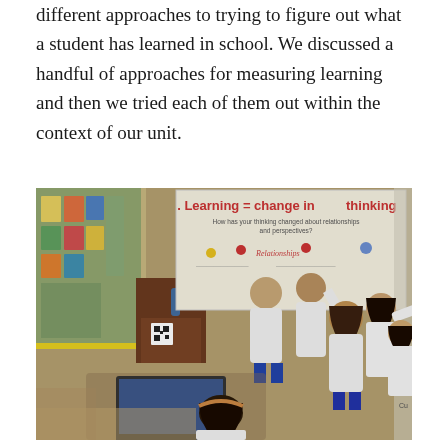different approaches to trying to figure out what a student has learned in school. We discussed a handful of approaches for measuring learning and then we tried each of them out within the context of our unit.
[Figure (photo): Classroom photo showing students gathered around an interactive whiteboard displaying 'Learning = change in thinking' with the question 'How has your thinking changed about relationships and perspectives?' Students in white uniforms are writing or pointing at the board while one student sits at a laptop in the foreground.]